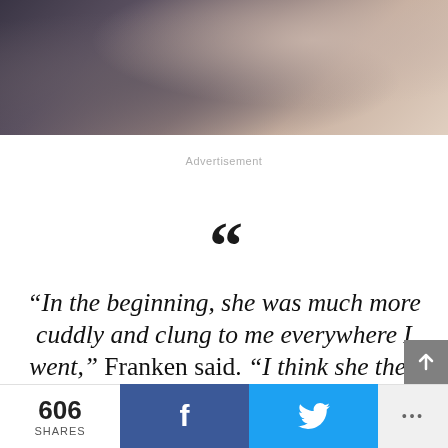[Figure (photo): Close-up photo of a cat or animal near a window, partially cropped at top of page]
Advertisement
““
“In the beginning, she was much more cuddly and clung to me everywhere I went,” Franken said. “I think she then noticed that she didn’t need to ‘pretend’
606 SHARES
f
♥
•••